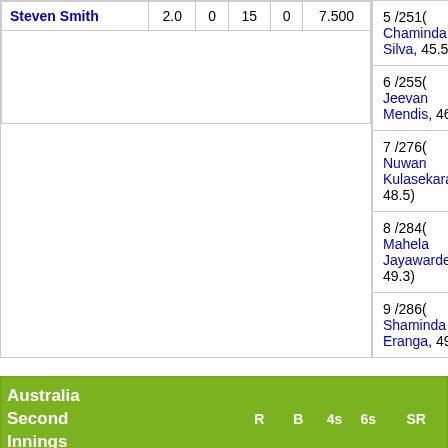| Player |  | R | B | 4s | 6s | SR |
| --- | --- | --- | --- | --- | --- | --- |
| Steven Smith |  | 2.0 | 0 | 15 | 0 | 7.500 |
|  |
| --- |
| 5 /251( Chaminda Silva, 45.5) |
| 6 /255( Jeevan Mendis, 46.4) |
| 7 /276( Nuwan Kulasekara, 48.5) |
| 8 /284( Mahela Jayawardene, 49.3) |
| 9 /286( Shaminda Eranga, 49.6) |
| Australia Second Innings |  | R | B | 4s | 6s | SR |
| --- | --- | --- | --- | --- | --- | --- |
| Shane Watson | c Mahela Jayawardene b Lasith Malinga | 5 | 8 | 1 | 0 | 62.500 |
| Brad | b Shaminda | 5 | 20 | 1 | 0 | 25.000 |